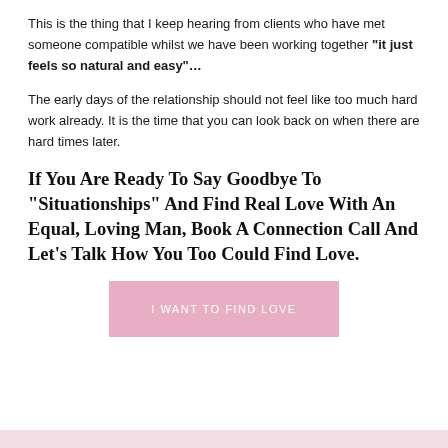This is the thing that I keep hearing from clients who have met someone compatible whilst we have been working together "it just feels so natural and easy"...
The early days of the relationship should not feel like too much hard work already. It is the time that you can look back on when there are hard times later.
If You Are Ready To Say Goodbye To "Situationships" And Find Real Love With An Equal, Loving Man, Book A Connection Call And Let’s Talk How You Too Could Find Love.
I WANT TO FIND LOVE